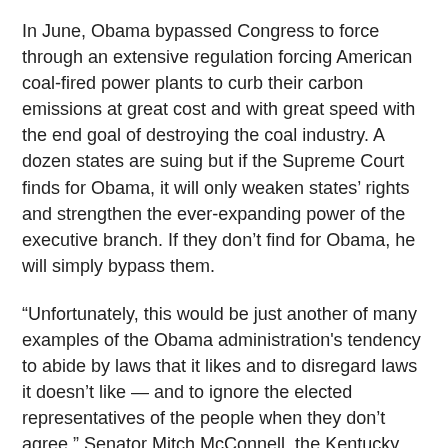In June, Obama bypassed Congress to force through an extensive regulation forcing American coal-fired power plants to curb their carbon emissions at great cost and with great speed with the end goal of destroying the coal industry. A dozen states are suing but if the Supreme Court finds for Obama, it will only weaken states' rights and strengthen the ever-expanding power of the executive branch. If they don't find for Obama, he will simply bypass them.
“Unfortunately, this would be just another of many examples of the Obama administration's tendency to abide by laws that it likes and to disregard laws it doesn't like — and to ignore the elected representatives of the people when they don't agree,” Senator Mitch McConnell, the Kentucky Republican and minority leader, said in a weak, understated statement.
The United States is already well into Agenda 21, stealing land